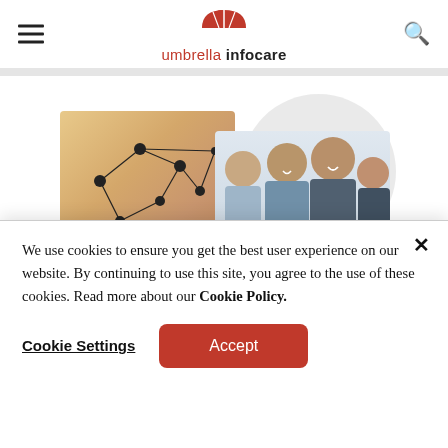umbrella infocare
[Figure (photo): Hero image showing two overlapping photos: left side shows hands with a network/connection graphic overlay, right side shows a group of smiling people (men in business attire), with a light gray circle in the background]
We use cookies to ensure you get the best user experience on our website. By continuing to use this site, you agree to the use of these cookies. Read more about our Cookie Policy.
Cookie Settings  Accept